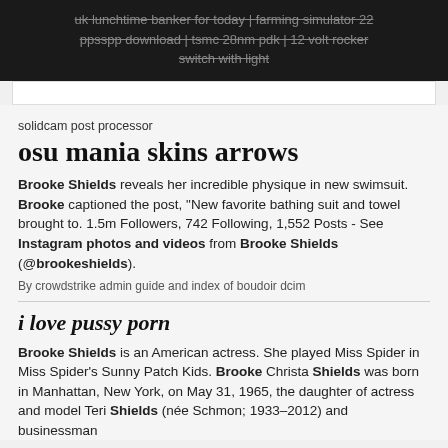uk lunchtime banker for today | farming simulator 22 ppsspp download | tsmc 28nm pdk | 12 volt rocker switch with light
solidcam post processor
osu mania skins arrows
Brooke Shields reveals her incredible physique in new swimsuit. Brooke captioned the post, "New favorite bathing suit and towel brought to. 1.5m Followers, 742 Following, 1,552 Posts - See Instagram photos and videos from Brooke Shields (@brookeshields).
By crowdstrike admin guide and index of boudoir dcim
i love pussy porn
Brooke Shields is an American actress. She played Miss Spider in Miss Spider's Sunny Patch Kids. Brooke Christa Shields was born in Manhattan, New York, on May 31, 1965, the daughter of actress and model Teri Shields (née Schmon; 1933–2012) and businessman